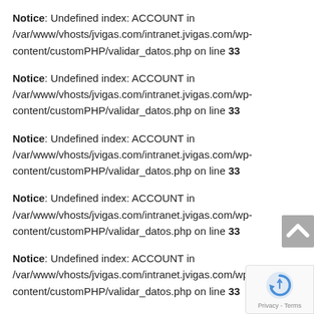Notice: Undefined index: ACCOUNT in /var/www/vhosts/jvigas.com/intranet.jvigas.com/wp-content/customPHP/validar_datos.php on line 33
Notice: Undefined index: ACCOUNT in /var/www/vhosts/jvigas.com/intranet.jvigas.com/wp-content/customPHP/validar_datos.php on line 33
Notice: Undefined index: ACCOUNT in /var/www/vhosts/jvigas.com/intranet.jvigas.com/wp-content/customPHP/validar_datos.php on line 33
Notice: Undefined index: ACCOUNT in /var/www/vhosts/jvigas.com/intranet.jvigas.com/wp-content/customPHP/validar_datos.php on line 33
Notice: Undefined index: ACCOUNT in /var/www/vhosts/jvigas.com/intranet.jvigas.com/wp-content/customPHP/validar_datos.php on line 33